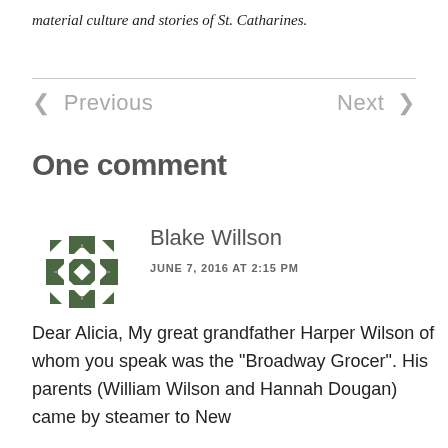material culture and stories of St. Catharines.
< Previous   Next >
One comment
[Figure (illustration): Green decorative quilted/geometric avatar icon for user Blake Willson]
Blake Willson
JUNE 7, 2016 AT 2:15 PM
Dear Alicia, My great grandfather Harper Wilson of whom you speak was the “Broadway Grocer”. His parents (William Wilson and Hannah Dougan) came by steamer to New